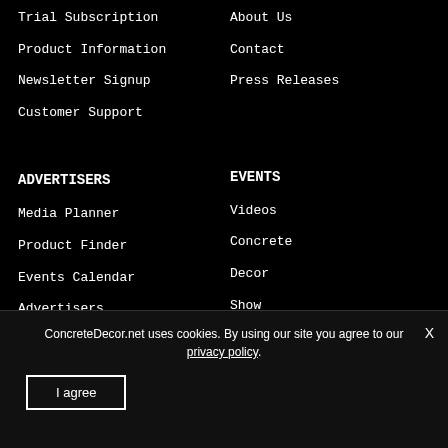Trial Subscription
Product Information
Newsletter Signup
Customer Support
About Us
Contact
Press Releases
ADVERTISERS
EVENTS
Media Planner
Product Finder
Events Calendar
Advertisers
Login
Videos
Concrete
Decor
Show
Hall of
ConcreteDecor.net uses cookies. By using our site you agree to our privacy policy.
I agree